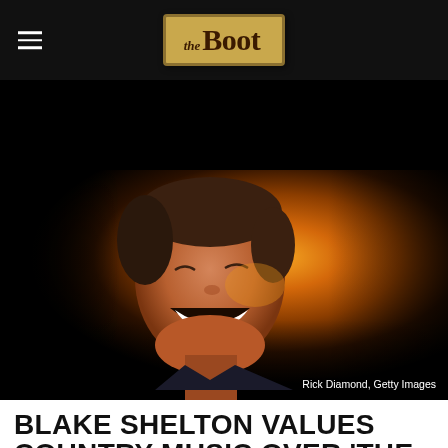the Boot
[Figure (photo): Blake Shelton laughing, with orange/yellow stage lighting background. Credit: Rick Diamond, Getty Images]
Rick Diamond, Getty Images
BLAKE SHELTON VALUES COUNTRY MUSIC OVER 'THE